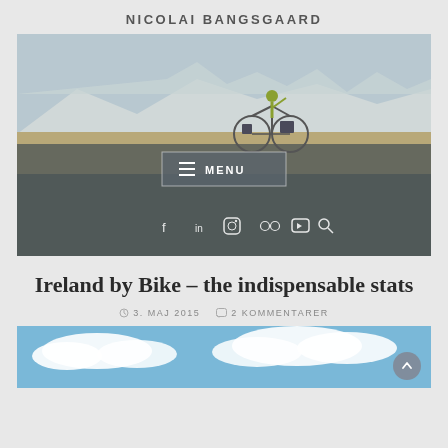NICOLAI BANGSGAARD
[Figure (photo): A cyclist with panniers on a loaded touring bike riding across a flat desert/highland landscape with snow-capped mountains in the background, raising one arm. The lower half of the image is overlaid with a semi-transparent dark grey navigation bar containing a MENU button and social media icons (Facebook, LinkedIn, Instagram, Flickr, YouTube, Search).]
Ireland by Bike – the indispensable stats
3. MAJ 2015   2 KOMMENTARER
[Figure (photo): Bottom portion of a photo showing a blue sky with white clouds, partially visible at the bottom of the page.]